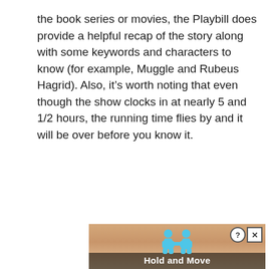the book series or movies, the Playbill does provide a helpful recap of the story along with some keywords and characters to know (for example, Muggle and Rubeus Hagrid). Also, it's worth noting that even though the show clocks in at nearly 5 and 1/2 hours, the running time flies by and it will be over before you know it.
[Figure (illustration): Advertisement banner showing two blue cartoon figures holding hands with text 'Hold and Move' on a wood-textured background. Has close/help buttons in top right corner.]